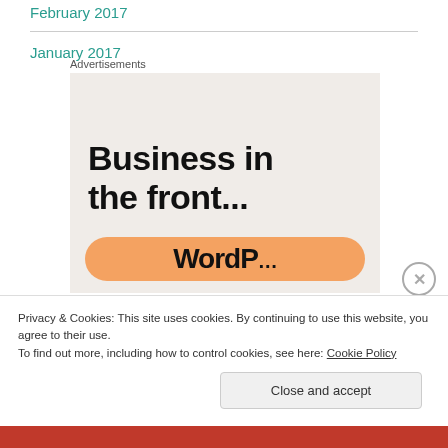February 2017
January 2017
Advertisements
[Figure (other): Advertisement box with light beige background showing bold text 'Business in the front...' and an orange pill-shaped button with partial text 'WordP...']
Privacy & Cookies: This site uses cookies. By continuing to use this website, you agree to their use. To find out more, including how to control cookies, see here: Cookie Policy
Close and accept